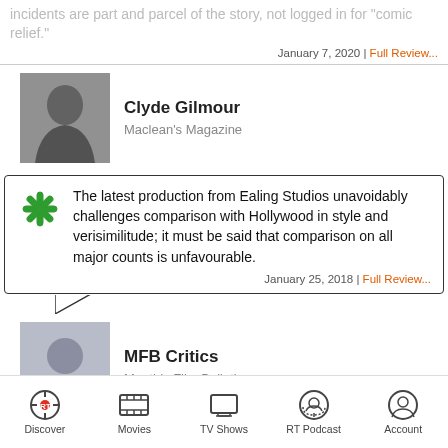incidents are part and parcel of the story, not logged in for "comic relief."
January 7, 2020 | Full Review...
Clyde Gilmour
Maclean's Magazine
The latest production from Ealing Studios unavoidably challenges comparison with Hollywood in style and verisimilitude; it must be said that comparison on all major counts is unfavourable.
January 25, 2018 | Full Review...
MFB Critics
Monthly Film Bulletin
Solid Brit crime drama.
April 11, 2005 | Rating: B | Full Review...
Discover  Movies  TV Shows  RT Podcast  Account